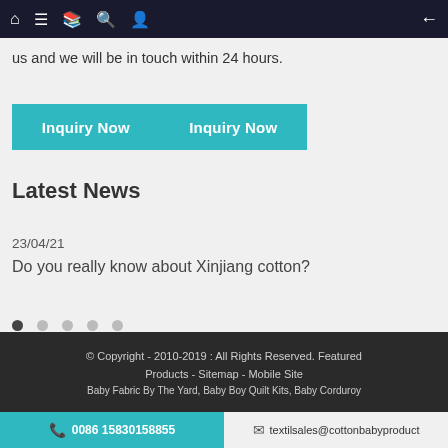Navigation bar with home, menu, book, search, profile icons and back arrow
us and we will be in touch within 24 hours.
Inquiry Now   Inquiry Now
Latest News
23/04/21
Do you really know about Xinjiang cotton?
© Copyright - 2010-2019 : All Rights Reserved. Featured Products - Sitemap - Mobile Site Baby Fabric By The Yard, Baby Boy Quilt Kits, Baby Corduroy...
0086 15830158855   textilsales@cottonbabyproduct